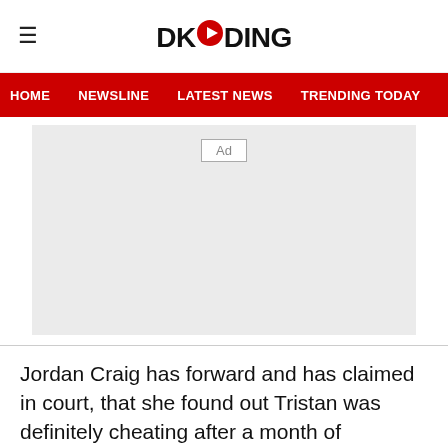DKODING
HOME  NEWSLINE  LATEST NEWS  TRENDING TODAY  ENT
[Figure (other): Advertisement placeholder box with 'Ad' label]
Jordan Craig has forward and has claimed in court, that she found out Tristan was definitely cheating after a month of discovering her pregnancy. She added that she wasn't aware of Tristan and Khloe's